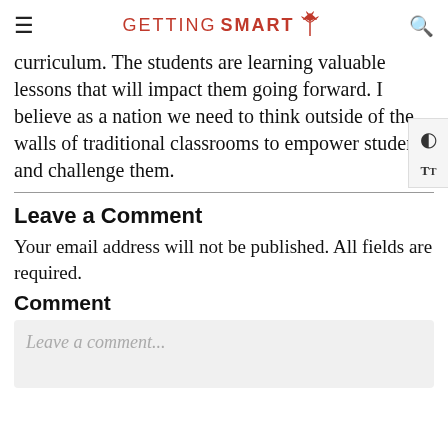GETTING SMART
curriculum. The students are learning valuable lessons that will impact them going forward. I believe as a nation we need to think outside of the walls of traditional classrooms to empower students and challenge them.
Leave a Comment
Your email address will not be published. All fields are required.
Comment
Leave a comment...